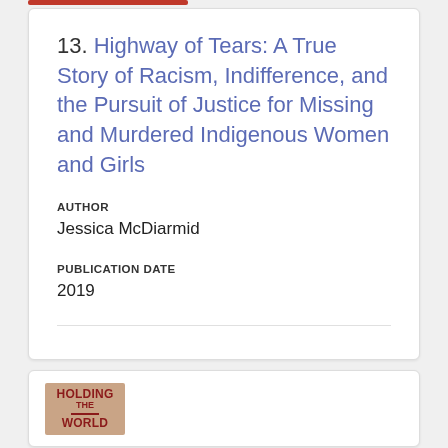13. Highway of Tears: A True Story of Racism, Indifference, and the Pursuit of Justice for Missing and Murdered Indigenous Women and Girls
AUTHOR
Jessica McDiarmid
PUBLICATION DATE
2019
[Figure (illustration): Book cover showing 'HOLDING THE WORLD' text in red on a burlap/tan textured background]